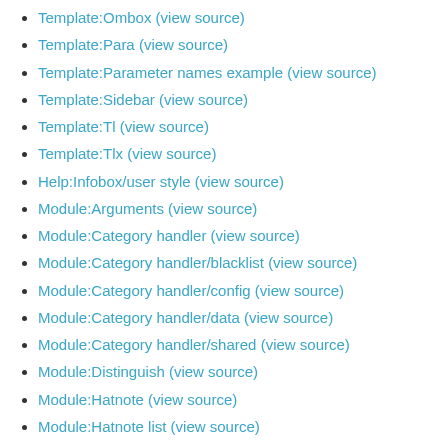Template:Ombox (view source)
Template:Para (view source)
Template:Parameter names example (view source)
Template:Sidebar (view source)
Template:Tl (view source)
Template:Tlx (view source)
Help:Infobox/user style (view source)
Module:Arguments (view source)
Module:Category handler (view source)
Module:Category handler/blacklist (view source)
Module:Category handler/config (view source)
Module:Category handler/data (view source)
Module:Category handler/shared (view source)
Module:Distinguish (view source)
Module:Hatnote (view source)
Module:Hatnote list (view source)
Module:Infobox (view source)
Module:List (view source)